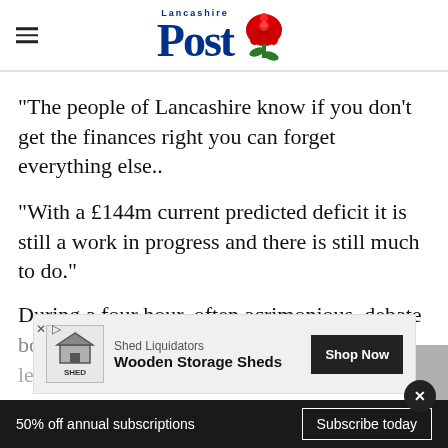[Figure (logo): Lancashire Post newspaper logo with blue bold text and red rose graphic]
“The people of Lancashire know if you don’t get the finances right you can forget everything else..
“With a £144m current predicted deficit it is still a work in progress and there is still much to do.”
During a four hour, often acrimonious, debate both Labour and Liberal Democrat group leaders...
[Figure (screenshot): Advertisement banner: Shed Liquidators Wooden Storage Sheds with Shop Now button]
50% off annual subscriptions
Subscribe today